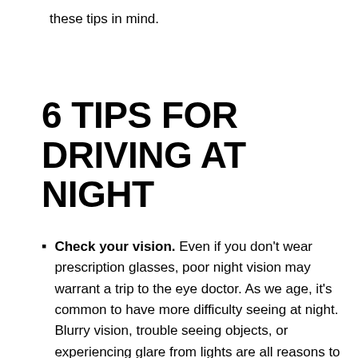these tips in mind.
6 TIPS FOR DRIVING AT NIGHT
Check your vision. Even if you don't wear prescription glasses, poor night vision may warrant a trip to the eye doctor. As we age, it's common to have more difficulty seeing at night. Blurry vision, trouble seeing objects, or experiencing glare from lights are all reasons to schedule an appointment. Correcting your vision with glasses or contact lenses could put an end